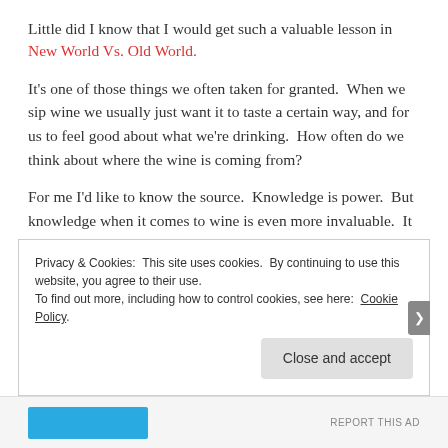Little did I know that I would get such a valuable lesson in New World Vs. Old World.
It's one of those things we often taken for granted.  When we sip wine we usually just want it to taste a certain way, and for us to feel good about what we're drinking.  How often do we think about where the wine is coming from?
For me I'd like to know the source.  Knowledge is power.  But knowledge when it comes to wine is even more invaluable.  It opens so many doors and steers conversations in regards to food and beverage into magical places.  I've found myself in riveting discussions because of
Privacy & Cookies: This site uses cookies. By continuing to use this website, you agree to their use. To find out more, including how to control cookies, see here: Cookie Policy
Close and accept